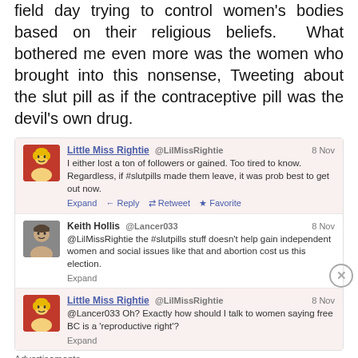field day trying to control women's bodies based on their religious beliefs. What bothered me even more was the women who brought into this nonsense, Tweeting about the slut pill as if the contraceptive pill was the devil's own drug.
[Figure (screenshot): Screenshot of tweets. Tweet 1: Little Miss Rightie @LilMissRightie, 8 Nov - 'I either lost a ton of followers or gained. Too tired to know. Regardless, if #slutpills made them leave, it was prob best to get out now.' with Expand, Reply, Retweet, Favorite links. Tweet 2: Keith Hollis @Lancer033, 8 Nov - '@LilMissRightie the #slutpills stuff doesn't help gain independent women and social issues like that and abortion cost us this election.' with Expand link. Tweet 3: Little Miss Rightie @LilMissRightie, 8 Nov - '@Lancer033 Oh? Exactly how should I talk to women saying free BC is a 'reproductive right'?' with Expand link.]
Advertisements
[Figure (screenshot): Yellow advertisement banner: Share, Discuss, Collaborate, P2. Powered by WordPress logo.]